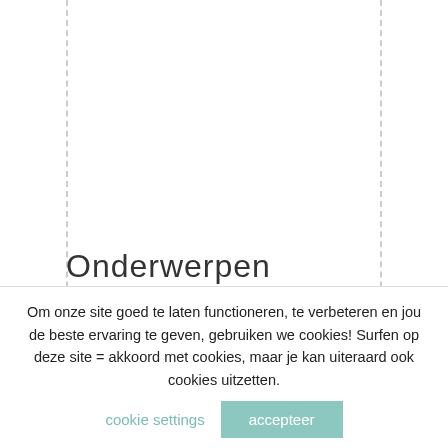Onderwerpen
behind the scenes
beleid
boeken
dietist
diner
drinken
duurzaamheid
eet als een expert
eetgedrag
foodie 1 jaar gastblog
future(food)
Om onze site goed te laten functioneren, te verbeteren en jou de beste ervaring te geven, gebruiken we cookies! Surfen op deze site = akkoord met cookies, maar je kan uiteraard ook cookies uitzetten.
cookie settings
accepteer